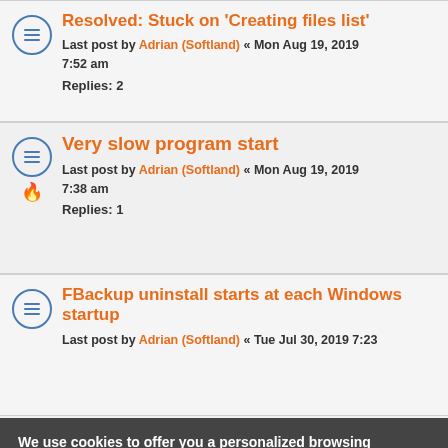Resolved: Stuck on 'Creating files list'
Last post by Adrian (Softland) « Mon Aug 19, 2019 7:52 am
Replies: 2
Very slow program start
Last post by Adrian (Softland) « Mon Aug 19, 2019 7:38 am
Replies: 1
FBackup uninstall starts at each Windows startup
Last post by Adrian (Softland) « Tue Jul 30, 2019 7:23
We use cookies to offer you a personalized browsing experience and we collect personal data so that you can use our products.
I AGREE
READ MORE